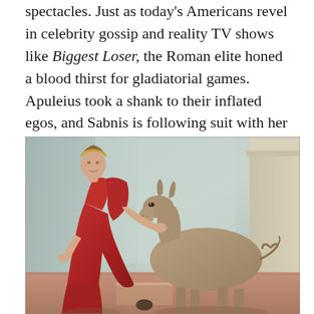spectacles. Just as today's Americans revel in celebrity gossip and reality TV shows like Biggest Loser, the Roman elite honed a blood thirst for gladiatorial games. Apuleius took a shank to their inflated egos, and Sabnis is following suit with her own sharp, iconoclastic critique.
[Figure (illustration): A Renaissance-style painting depicting a woman in a red draped dress reaching out to touch the head of a donkey, set against a grey-blue architectural background.]